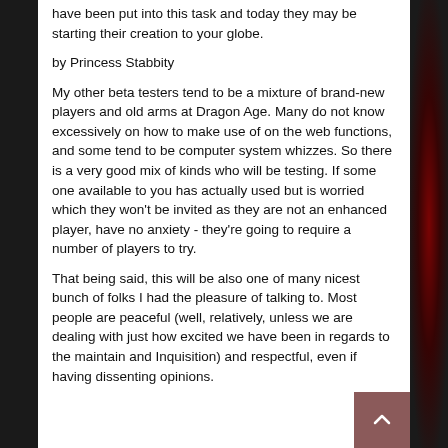have been put into this task and today they may be starting their creation to your globe.
by Princess Stabbity
My other beta testers tend to be a mixture of brand-new players and old arms at Dragon Age. Many do not know excessively on how to make use of on the web functions, and some tend to be computer system whizzes. So there is a very good mix of kinds who will be testing. If some one available to you has actually used but is worried which they won't be invited as they are not an enhanced player, have no anxiety - they're going to require a number of players to try.
That being said, this will be also one of many nicest bunch of folks I had the pleasure of talking to. Most people are peaceful (well, relatively, unless we are dealing with just how excited we have been in regards to the maintain and Inquisition) and respectful, even if having dissenting opinions.